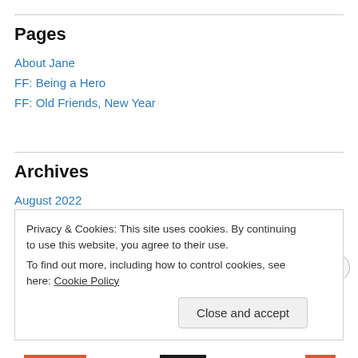Pages
About Jane
FF: Being a Hero
FF: Old Friends, New Year
Archives
August 2022
July 2022
June 2022
Privacy & Cookies: This site uses cookies. By continuing to use this website, you agree to their use.
To find out more, including how to control cookies, see here: Cookie Policy
Close and accept